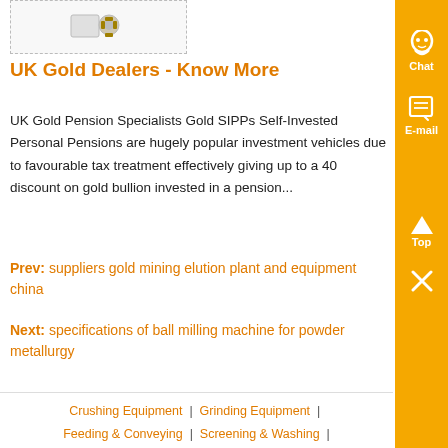[Figure (illustration): Small product image placeholder with dotted border, showing a mechanical/gear device icon]
UK Gold Dealers - Know More
UK Gold Pension Specialists Gold SIPPs Self-Invested Personal Pensions are hugely popular investment vehicles due to favourable tax treatment effectively giving up to a 40 discount on gold bullion invested in a pension...
Prev: suppliers gold mining elution plant and equipment china
Next: specifications of ball milling machine for powder metallurgy
Crushing Equipment | Grinding Equipment | Feeding & Conveying | Screening & Washing |